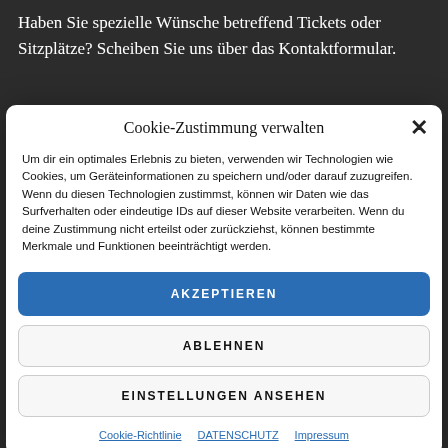Haben Sie spezielle Wünsche betreffend Tickets oder Sitzplätze? Scheiben Sie uns über das Kontaktformular.
Cookie-Zustimmung verwalten
Um dir ein optimales Erlebnis zu bieten, verwenden wir Technologien wie Cookies, um Geräteinformationen zu speichern und/oder darauf zuzugreifen. Wenn du diesen Technologien zustimmst, können wir Daten wie das Surfverhalten oder eindeutige IDs auf dieser Website verarbeiten. Wenn du deine Zustimmung nicht erteilst oder zurückziehst, können bestimmte Merkmale und Funktionen beeinträchtigt werden.
AKZEPTIEREN
ABLEHNEN
EINSTELLUNGEN ANSEHEN
Cookie-Richtlinie   DATENSCHUTZ   Impressum